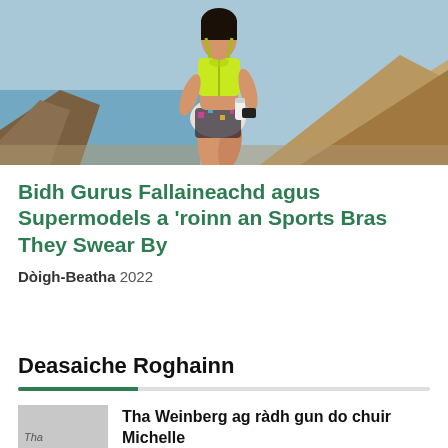[Figure (photo): Woman in neon yellow sports bra running outdoors near rocky coastline, holding a water bottle, wearing patterned shorts]
Bidh Gurus Fallaineachd agus Supermodels a ‘roinn an Sports Bras They Swear By
Dòigh-Beatha 2022
Deasaiche Roghainn
[Figure (photo): Thumbnail image placeholder labeled Tha]
Tha Weinberg ag ràdh gun do chuir Michelle